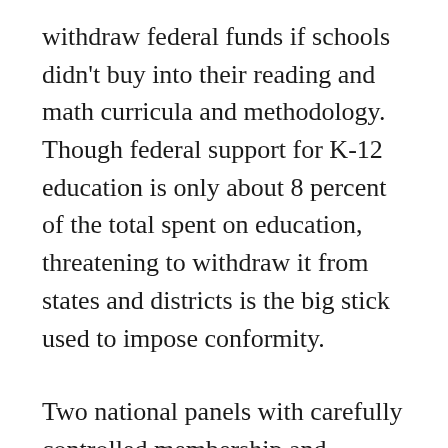withdraw federal funds if schools didn't buy into their reading and math curricula and methodology. Though federal support for K-12 education is only about 8 percent of the total spent on education, threatening to withdraw it from states and districts is the big stick used to impose conformity.
Two national panels with carefully controlled membership and agendas coordinated through the National Institutes of Health were used to marginalize holistic research and eventually any methods or materials that were not phonics- and skills-based. And conservatives blamed teachers and their